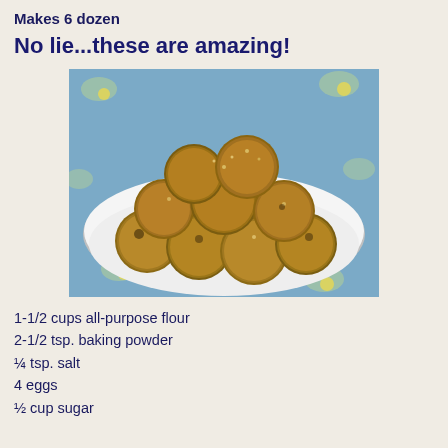Makes 6 dozen
No lie...these are amazing!
[Figure (photo): A white plate piled high with golden-brown fried pastry puffs, dusted with sugar, sitting on a floral blue tablecloth.]
1-1/2 cups all-purpose flour
2-1/2 tsp. baking powder
¼ tsp. salt
4 eggs
½ cup sugar